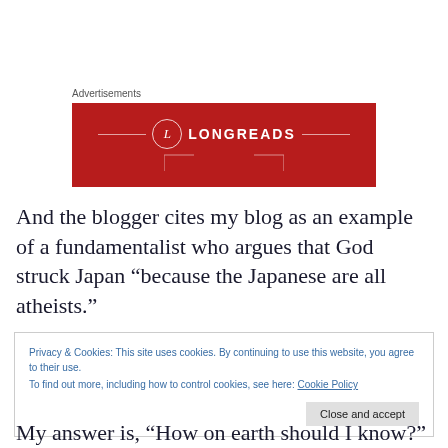Advertisements
[Figure (logo): Longreads advertisement banner with red background, circular L logo and LONGREADS text in white]
And the blogger cites my blog as an example of a fundamentalist who argues that God struck Japan “because the Japanese are all atheists.”
Privacy & Cookies: This site uses cookies. By continuing to use this website, you agree to their use.
To find out more, including how to control cookies, see here: Cookie Policy
[Close and accept]
My answer is, “How on earth should I know?"